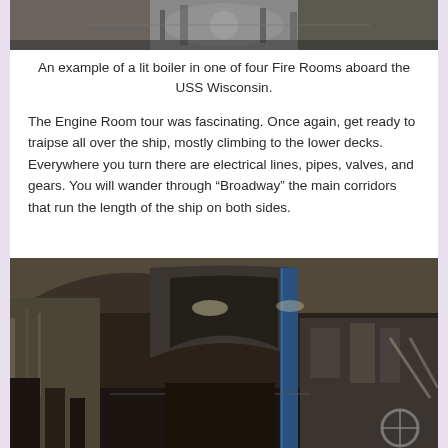[Figure (photo): Black and white photograph of a lit boiler in one of four Fire Rooms aboard the USS Wisconsin battleship.]
An example of a lit boiler in one of four Fire Rooms aboard the USS Wisconsin.
The Engine Room tour was fascinating. Once again, get ready to traipse all over the ship, mostly climbing to the lower decks. Everywhere you turn there are electrical lines, pipes, valves, and gears. You will wander through “Broadway” the main corridors that run the length of the ship on both sides.
[Figure (photo): Color photograph of the interior corridor of the USS Wisconsin engine room, showing pipes, equipment, machinery, and narrow passageways with industrial lighting.]